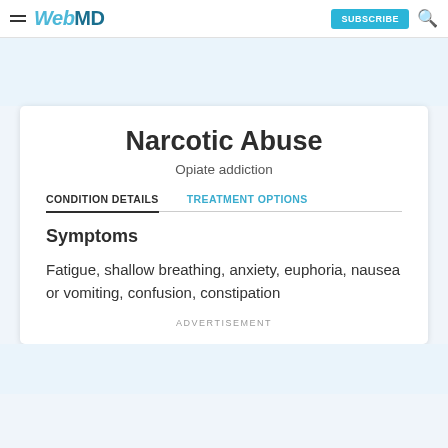WebMD — SUBSCRIBE
Narcotic Abuse
Opiate addiction
CONDITION DETAILS   TREATMENT OPTIONS
Symptoms
Fatigue, shallow breathing, anxiety, euphoria, nausea or vomiting, confusion, constipation
ADVERTISEMENT